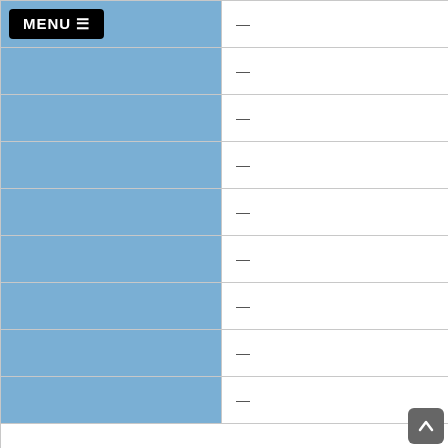|  |  |
| --- | --- |
| MENU ☰ | — |
|  | — |
|  | — |
|  | — |
|  | — |
|  | — |
|  | — |
|  | — |
|  | — |
Non-English Language Learner
|  |  |
| --- | --- |
| [?] | 31 |